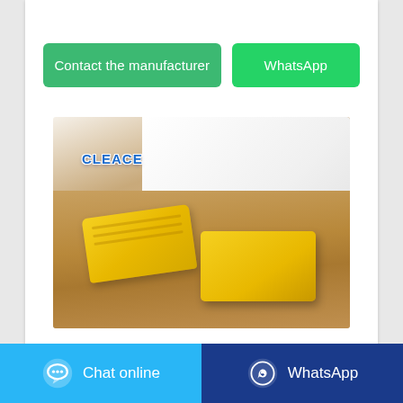[Figure (other): Green button: Contact the manufacturer]
[Figure (other): Green button: WhatsApp]
[Figure (photo): Photo of yellow soap bars (branded CLEACE) on a wooden surface with white cloth background]
Ministry of Small Scale
[Figure (other): Blue button: Chat online with chat bubble icon]
[Figure (other): Dark blue button: WhatsApp with WhatsApp icon]